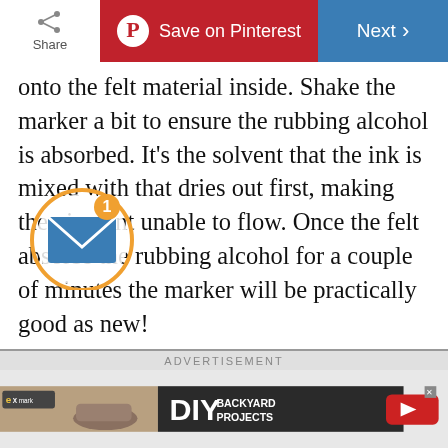Share | Save on Pinterest | Next
onto the felt material inside. Shake the marker a bit to ensure the rubbing alcohol is absorbed. It's the solvent that the ink is mixed with that dries out first, making the pigment unable to flow. Once the felt absorbs the rubbing alcohol for a couple of minutes the marker will be practically good as new!
Did you accidentally draw on your dry erase board with a permanent marker? Here's our magical handy hint to make it disappear!
[Figure (other): Email notification icon with badge showing '1']
ADVERTISEMENT | eXmark DIY BACKYARD PROJECTS